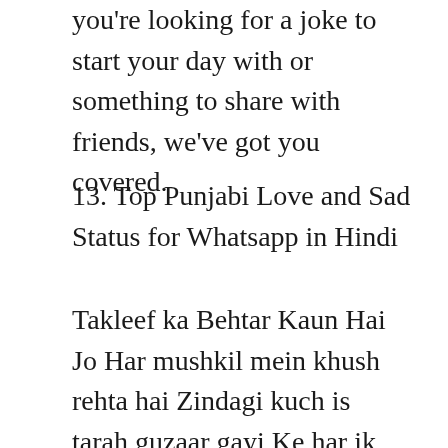you're looking for a joke to start your day with or something to share with friends, we've got you covered.
13. Top Punjabi Love and Sad Status for Whatsapp in Hindi
Takleef ka Behtar Kaun Hai Jo Har mushkil mein khush rehta hai Zindagi kuch is tarah guzaar gayi Ke har ik pal ek naya mushkil aa gaya! Translation: Who is better than one who endures difficulties with a smile? Life has gone by in such a way that every moment has